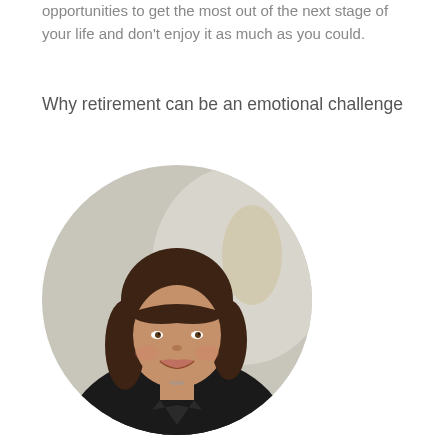opportunities to get the most out of the next stage of your life and don't enjoy it as much as you could.
Why retirement can be an emotional challenge
[Figure (photo): Circular portrait photo of a middle-aged woman with brown hair and bangs, wearing a dark blazer, smiling]